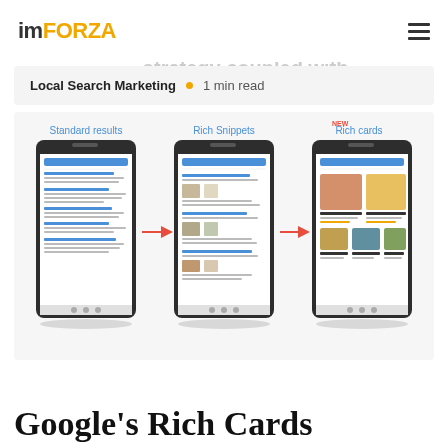imFORZA
in Google's search results? If you've been ... comprehensive local SEO strategy coupled with...
Local Search Marketing • 1 min read
[Figure (screenshot): Three screenshots of Google search results on mobile phones labeled: Standard results, Rich Snippets, and Rich cards (marked NEW). Arrows point from Standard results to Rich Snippets to Rich cards.]
Google's Rich Cards